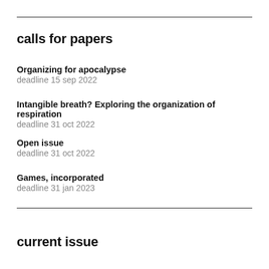calls for papers
Organizing for apocalypse
deadline 15 sep 2022
Intangible breath? Exploring the organization of respiration
deadline 31 oct 2022
Open issue
deadline 31 oct 2022
Games, incorporated
deadline 31 jan 2023
current issue